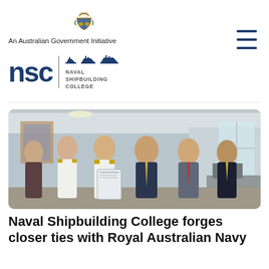[Figure (logo): Australian Government coat of arms emblem]
An Australian Government Initiative
[Figure (logo): NSC Naval Shipbuilding College logo with ship silhouettes]
[Figure (photo): Group of six men in an office setting, two in naval white uniforms, others in business suits, holding a document/agreement. This appears to be a signing ceremony between Naval Shipbuilding College and Royal Australian Navy.]
Naval Shipbuilding College forges closer ties with Royal Australian Navy